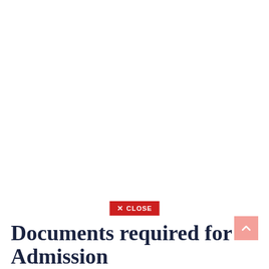[Figure (screenshot): A red close button with an X icon and the text CLOSE in white uppercase letters, centered on a white background]
[Figure (other): A pinkish-red scroll-to-top button with an upward arrow chevron icon, positioned at bottom right]
Documents required for Admission